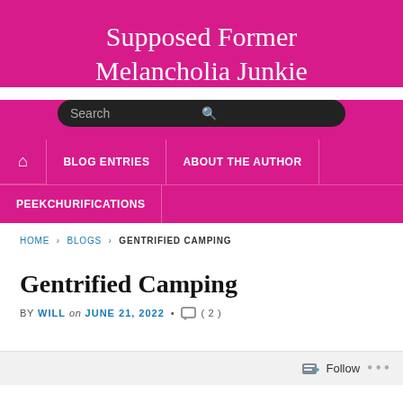Supposed Former Melancholia Junkie
Search
HOME  BLOG ENTRIES  ABOUT THE AUTHOR  PEEKCHURIFICATIONS
HOME › BLOGS › GENTRIFIED CAMPING
Gentrified Camping
BY WILL on JUNE 21, 2022 • ( 2 )